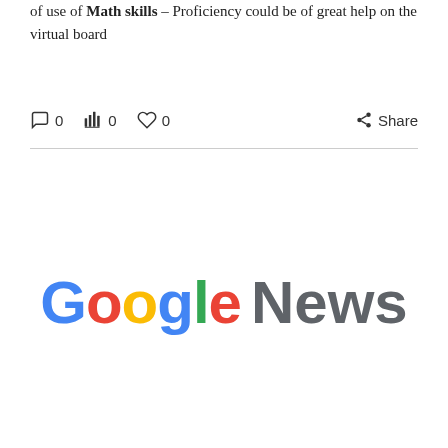of use of Math skills – Proficiency could be of great help on the virtual board
○ 0   ⬛ 0   ♡ 0   Share
[Figure (logo): Google News logo — 'Google' in multicolor (blue G, red o, yellow o, green g, red l, blue e) and 'News' in dark gray, bold sans-serif]